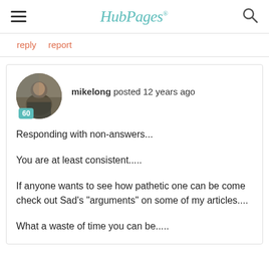HubPages
reply   report
[Figure (photo): Circular avatar photo of user mikelong showing a person outdoors near rocks, with a teal badge showing the number 60]
mikelong posted 12 years ago
Responding with non-answers...

You are at least consistent.....

If anyone wants to see how pathetic one can be come check out Sad's "arguments" on some of my articles....

What a waste of time you can be.....